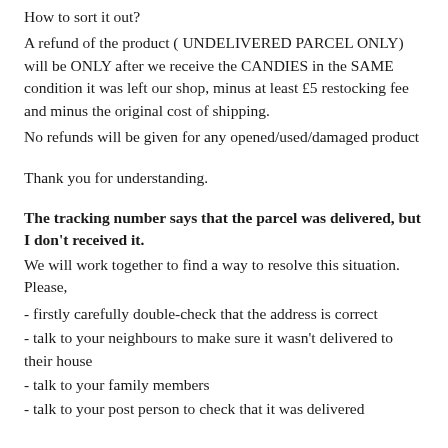How to sort it out?
A refund of the product ( UNDELIVERED PARCEL ONLY) will be ONLY after we receive the CANDIES in the SAME condition it was left our shop, minus at least £5 restocking fee and minus the original cost of shipping.
No refunds will be given for any opened/used/damaged product
Thank you for understanding.
The tracking number says that the parcel was delivered, but I don't received it.
We will work together to find a way to resolve this situation. Please,
- firstly carefully double-check that the address is correct
- talk to your neighbours to make sure it wasn't delivered to their house
- talk to your family members
- talk to your post person to check that it was delivered